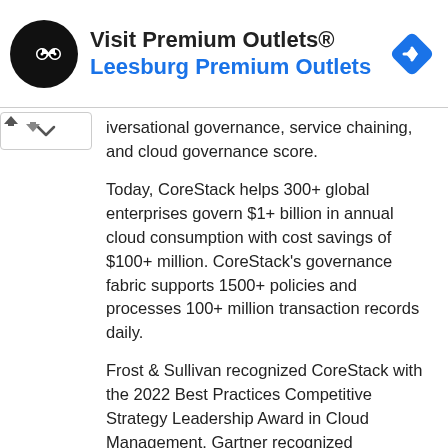[Figure (other): Advertisement banner for Visit Premium Outlets / Leesburg Premium Outlets with circular black logo and blue navigation diamond icon]
iversational governance, service chaining, and cloud governance score.
Today, CoreStack helps 300+ global enterprises govern $1+ billion in annual cloud consumption with cost savings of $100+ million. CoreStack's governance fabric supports 1500+ policies and processes 100+ million transaction records daily.
Frost & Sullivan recognized CoreStack with the 2022 Best Practices Competitive Strategy Leadership Award in Cloud Management. Gartner recognized CoreStack in the 2021 Market Guide for Cloud Management Platforms. IDC named CoreStack as the 2020 Innovator in Cloud Management.
CoreStack is backed by the world's leading venture investors and strategic investors, including the...